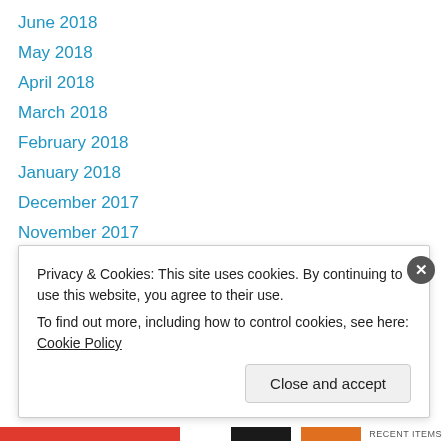June 2018
May 2018
April 2018
March 2018
February 2018
January 2018
December 2017
November 2017
October 2017
September 2017
July 2017
June 2017
May 2017
Privacy & Cookies: This site uses cookies. By continuing to use this website, you agree to their use.
To find out more, including how to control cookies, see here: Cookie Policy
Close and accept